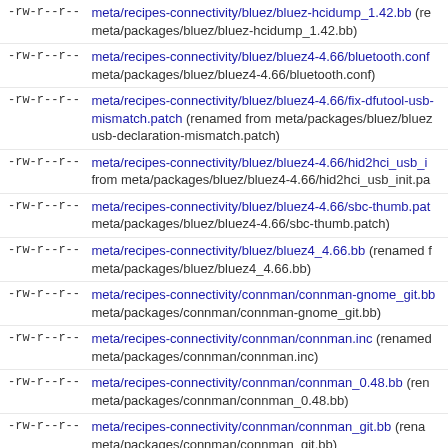| permissions | path |
| --- | --- |
| -rw-r--r-- | meta/recipes-connectivity/bluez/bluez-hcidump_1.42.bb (renamed from meta/packages/bluez/bluez-hcidump_1.42.bb) |
| -rw-r--r-- | meta/recipes-connectivity/bluez/bluez4-4.66/bluetooth.conf (renamed from meta/packages/bluez/bluez4-4.66/bluetooth.conf) |
| -rw-r--r-- | meta/recipes-connectivity/bluez/bluez4-4.66/fix-dfutool-usb-declaration-mismatch.patch (renamed from meta/packages/bluez/bluez4-4.66/usb-declaration-mismatch.patch) |
| -rw-r--r-- | meta/recipes-connectivity/bluez/bluez4-4.66/hid2hci_usb_init.pa… (renamed from meta/packages/bluez/bluez4-4.66/hid2hci_usb_init.pa…) |
| -rw-r--r-- | meta/recipes-connectivity/bluez/bluez4-4.66/sbc-thumb.patch (renamed from meta/packages/bluez/bluez4-4.66/sbc-thumb.patch) |
| -rw-r--r-- | meta/recipes-connectivity/bluez/bluez4_4.66.bb (renamed from meta/packages/bluez/bluez4_4.66.bb) |
| -rw-r--r-- | meta/recipes-connectivity/connman/connman-gnome_git.bb (renamed from meta/packages/connman/connman-gnome_git.bb) |
| -rw-r--r-- | meta/recipes-connectivity/connman/connman.inc (renamed from meta/packages/connman/connman.inc) |
| -rw-r--r-- | meta/recipes-connectivity/connman/connman_0.48.bb (renamed from meta/packages/connman/connman_0.48.bb) |
| -rw-r--r-- | meta/recipes-connectivity/connman/connman_git.bb (renamed from meta/packages/connman/connman_git.bb) |
| -rwxr-xr-x | meta/recipes-connectivity/connman/files/connman (renamed from meta/packages/connman/files/connman) |
| -rw-r--r-- | meta/recipes-connectivity/connman/files/connman-install-tests-d52de88aff4771283b2ebee4f48a7af15862d0ae.patch (renamed from meta/packages/connman/files/connman-install-tests-d52de88aff4771283b2ebee4f48a7af15862d0ae.patch) |